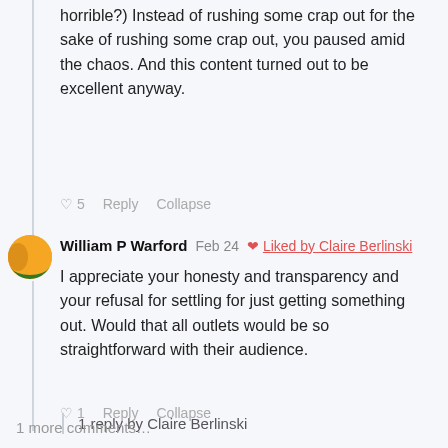horrible?) Instead of rushing some crap out for the sake of rushing some crap out, you paused amid the chaos. And this content turned out to be excellent anyway.
♡ 5   Reply   Collapse
William P Warford   Feb 24   ❤ Liked by Claire Berlinski
I appreciate your honesty and transparency and your refusal for settling for just getting something out. Would that all outlets would be so straightforward with their audience.
♡ 1   Reply   Collapse
1 reply by Claire Berlinski
1 more comments…